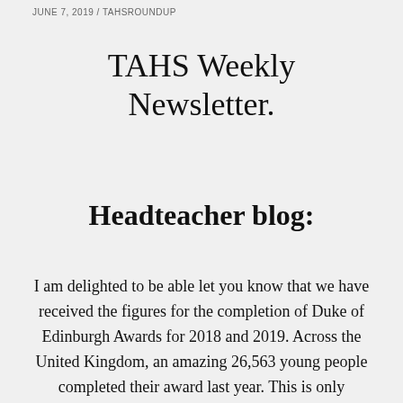JUNE 7, 2019 / TAHSROUNDUP
TAHS Weekly Newsletter.
Headteacher blog:
I am delighted to be able let you know that we have received the figures for the completion of Duke of Edinburgh Awards for 2018 and 2019. Across the United Kingdom, an amazing 26,563 young people completed their award last year. This is only possible due to the volunteering work done by many staff, parents and members of our community. Thomas